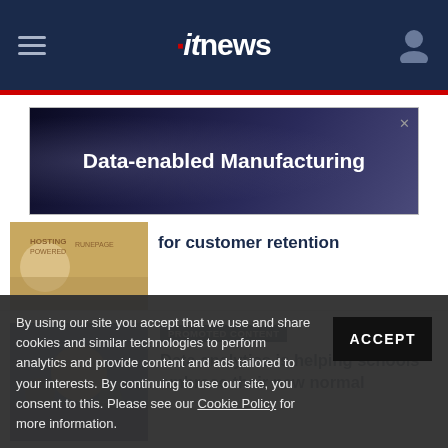itnews
[Figure (illustration): Advertisement banner: Data-enabled Manufacturing with dark tech background]
[Figure (photo): Photo related to hospitality/customer retention article]
for customer retention
[Figure (photo): Photo of a young girl in a classroom setting]
PROMOTED CONTENT
Data analytics is helping schools embrace their new normal
By using our site you accept that we use and share cookies and similar technologies to perform analytics and provide content and ads tailored to your interests. By continuing to use our site, you consent to this. Please see our Cookie Policy for more information.